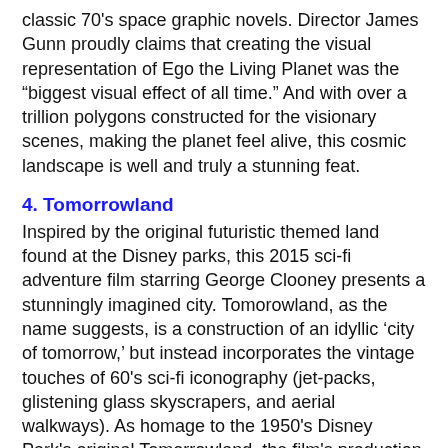classic 70's space graphic novels. Director James Gunn proudly claims that creating the visual representation of Ego the Living Planet was the “biggest visual effect of all time.” And with over a trillion polygons constructed for the visionary scenes, making the planet feel alive, this cosmic landscape is well and truly a stunning feat.
4. Tomorrowland
Inspired by the original futuristic themed land found at the Disney parks, this 2015 sci-fi adventure film starring George Clooney presents a stunningly imagined city. Tomorowland, as the name suggests, is a construction of an idyllic ‘city of tomorrow,’ but instead incorporates the vintage touches of 60’s sci-fi iconography (jet-packs, glistening glass skyscrapers, and aerial walkways). As homage to the 1950’s Disney Park’s original Tomorrowland, the film’s production designers incorporated the designs of rides Space Mountain and Spaceship Earth as architectural features of the cinematic cityscape.
5. Thor (Asgard)
Asgard is the mythic planetary home to Norse gods Thor,